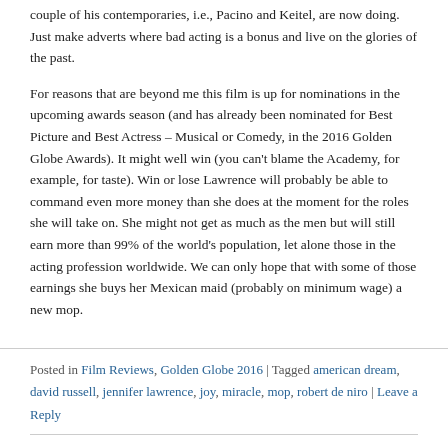couple of his contemporaries, i.e., Pacino and Keitel, are now doing. Just make adverts where bad acting is a bonus and live on the glories of the past.
For reasons that are beyond me this film is up for nominations in the upcoming awards season (and has already been nominated for Best Picture and Best Actress – Musical or Comedy, in the 2016 Golden Globe Awards). It might well win (you can't blame the Academy, for example, for taste). Win or lose Lawrence will probably be able to command even more money than she does at the moment for the roles she will take on. She might not get as much as the men but will still earn more than 99% of the world's population, let alone those in the acting profession worldwide. We can only hope that with some of those earnings she buys her Mexican maid (probably on minimum wage) a new mop.
Posted in Film Reviews, Golden Globe 2016 | Tagged american dream, david russell, jennifer lawrence, joy, miracle, mop, robert de niro | Leave a Reply